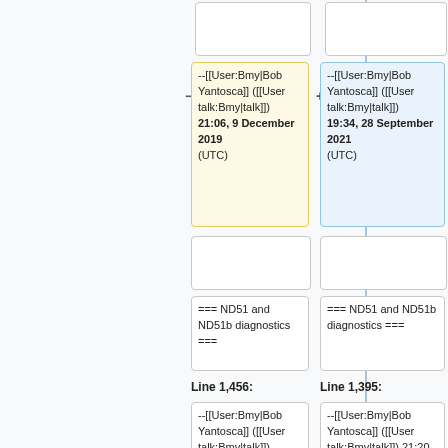--[[User:Bmy|Bob Yantosca]] ([[User talk:Bmy|talk]]) 21:06, 9 December 2019 (UTC)
--[[User:Bmy|Bob Yantosca]] ([[User talk:Bmy|talk]]) 19:34, 28 September 2021 (UTC)
=== ND51 and ND51b diagnostics ===
=== ND51 and ND51b diagnostics ===
Line 1,456:
Line 1,395:
--[[User:Bmy|Bob Yantosca]] ([[User talk:Bmy|talk]]) 21:20, 9 December 2019
--[[User:Bmy|Bob Yantosca]] ([[User talk:Bmy|talk]]) 21:20, 9 December 2019